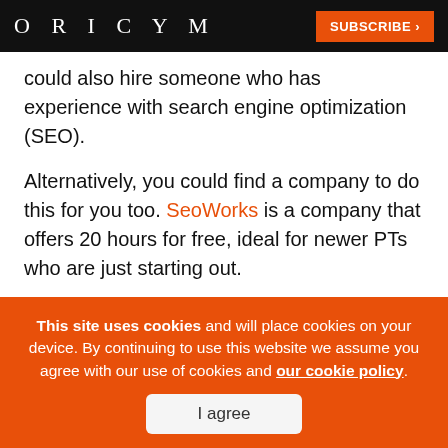ORIGYM  SUBSCRIBE ›
could also hire someone who has experience with search engine optimization (SEO).
Alternatively, you could find a company to do this for you too. SeoWorks is a company that offers 20 hours for free, ideal for newer PTs who are just starting out.
Leaving more experienced people to work on the
This site uses cookies and will place cookies on your device. By continuing to use this website we assume you agree with our use of cookies and our cookie policy.
I agree